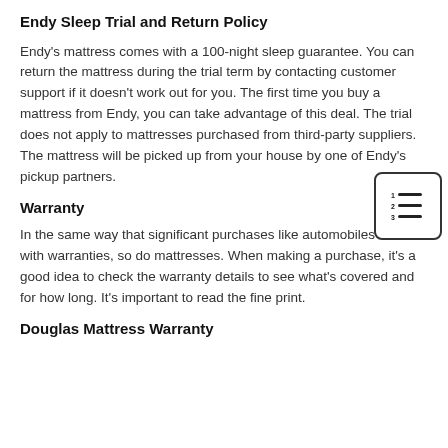Endy Sleep Trial and Return Policy
Endy’s mattress comes with a 100-night sleep guarantee. You can return the mattress during the trial term by contacting customer support if it doesn’t work out for you. The first time you buy a mattress from Endy, you can take advantage of this deal. The trial does not apply to mattresses purchased from third-party suppliers. The mattress will be picked up from your house by one of Endy’s pickup partners.
Warranty
In the same way that significant purchases like automobiles come with warranties, so do mattresses. When making a purchase, it’s a good idea to check the warranty details to see what’s covered and for how long. It’s important to read the fine print.
Douglas Mattress Warranty